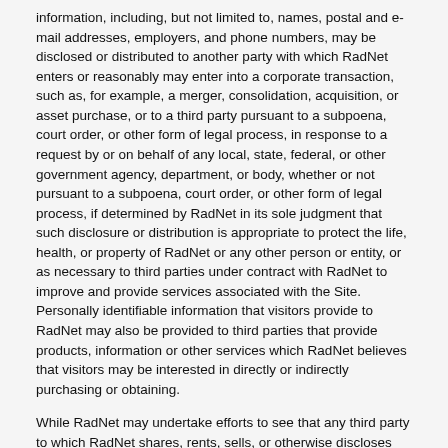information, including, but not limited to, names, postal and e-mail addresses, employers, and phone numbers, may be disclosed or distributed to another party with which RadNet enters or reasonably may enter into a corporate transaction, such as, for example, a merger, consolidation, acquisition, or asset purchase, or to a third party pursuant to a subpoena, court order, or other form of legal process, in response to a request by or on behalf of any local, state, federal, or other government agency, department, or body, whether or not pursuant to a subpoena, court order, or other form of legal process, if determined by RadNet in its sole judgment that such disclosure or distribution is appropriate to protect the life, health, or property of RadNet or any other person or entity, or as necessary to third parties under contract with RadNet to improve and provide services associated with the Site. Personally identifiable information that visitors provide to RadNet may also be provided to third parties that provide products, information or other services which RadNet believes that visitors may be interested in directly or indirectly purchasing or obtaining.
While RadNet may undertake efforts to see that any third party to which RadNet shares, rents, sells, or otherwise discloses personally identifiable information is under a contractual obligation to use the personally identifiable information solely for the purposes for which the data was disclosed, RadNet is not responsible for, and will not be liable for, such third party's conduct, actions, omissions, or information handling or dissemination practices.
4. Third Party Materials